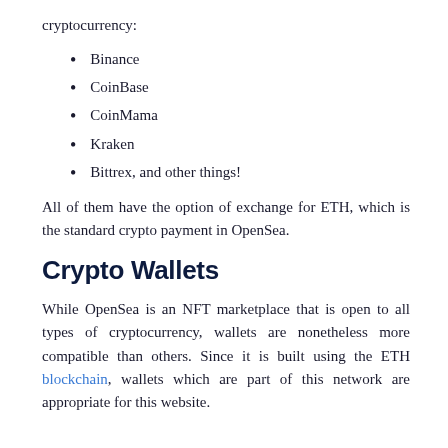cryptocurrency:
Binance
CoinBase
CoinMama
Kraken
Bittrex, and other things!
All of them have the option of exchange for ETH, which is the standard crypto payment in OpenSea.
Crypto Wallets
While OpenSea is an NFT marketplace that is open to all types of cryptocurrency, wallets are nonetheless more compatible than others. Since it is built using the ETH blockchain, wallets which are part of this network are appropriate for this website.